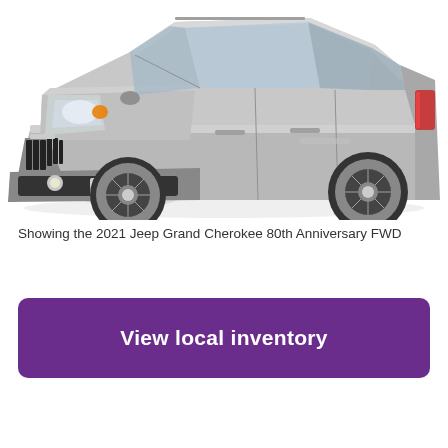[Figure (photo): Silver 2021 Jeep Grand Cherokee 80th Anniversary FWD SUV shown from a front three-quarter angle on white background]
Showing the 2021 Jeep Grand Cherokee 80th Anniversary FWD
View local inventory